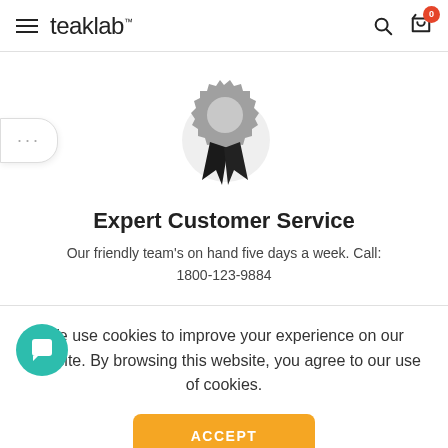teaklab™ — navigation header with hamburger menu, search, cart (0)
[Figure (illustration): Award/badge ribbon icon in gray with black ribbon, shown with a light gray circular background shadow]
Expert Customer Service
Our friendly team's on hand five days a week. Call: 1800-123-9884
We use cookies to improve your experience on our website. By browsing this website, you agree to our use of cookies.
ACCEPT